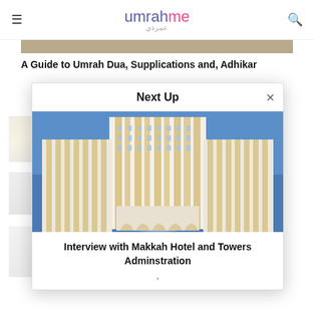umrahme
A Guide to Umrah Dua, Supplications and, Adhikar
[Figure (photo): Decorative lantern thumbnail image]
[Figure (photo): Kaaba / Mecca aerial thumbnail image]
[Figure (photo): Crowd at Mecca thumbnail image]
Next Up
[Figure (photo): Makkah Hotel and Towers building exterior - tall ornate white and gold tower with blue sky background]
Interview with Makkah Hotel and Towers Adminstration